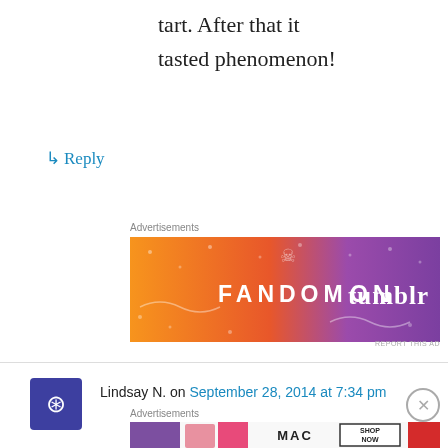tart. After that it tasted phenomenon!
↳ Reply
Advertisements
[Figure (illustration): Fandom on Tumblr advertisement banner with orange to purple gradient background and decorative doodles]
REPORT THIS AD
Lindsay N. on September 28, 2014 at 7:34 pm
I made this for Thanksgiving last year and it was a hit, especially among those of us who find the canned stuff suspicious. I love chutneys of all kinds, so I think I may use it a few times this fall!
Advertisements
[Figure (illustration): MAC cosmetics advertisement banner showing lipsticks with SHOP NOW button]